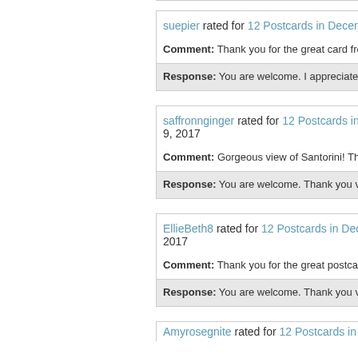suepier rated for 12 Postcards in December
Comment: Thank you for the great card from Sant...
Response: You are welcome. I appreciate the hea...
saffronnginger rated for 12 Postcards in D... 9, 2017
Comment: Gorgeous view of Santorini! Thank you...
Response: You are welcome. Thank you very muc...
EllieBeth8 rated for 12 Postcards in Decer... 2017
Comment: Thank you for the great postcard! Have...
Response: You are welcome. Thank you very mu...
Amyrosegnite rated for 12 Postcards in D...